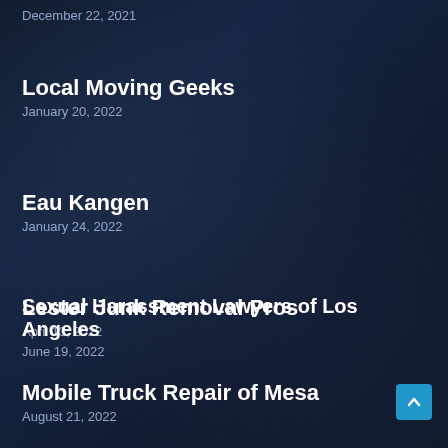December 22, 2021
Local Moving Geeks
January 20, 2022
Eau Kangen
January 24, 2022
Lester Junk Removal Pros
April 13, 2022
Sexual Harassment Lawyers of Los Angeles
June 19, 2022
Mobile Truck Repair of Mesa
August 21, 2022